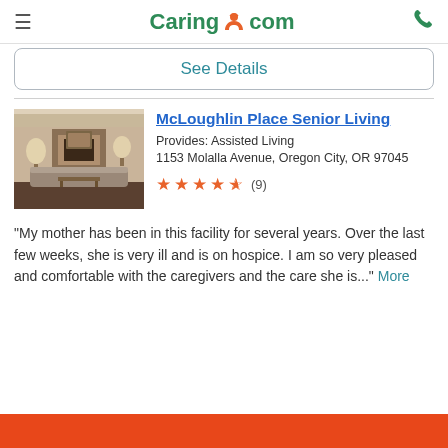Caring.com
See Details
McLoughlin Place Senior Living
Provides: Assisted Living
1153 Molalla Avenue, Oregon City, OR 97045
[Figure (other): 4.5 star rating with (9) reviews]
"My mother has been in this facility for several years. Over the last few weeks, she is very ill and is on hospice. I am so very pleased and comfortable with the caregivers and the care she is..." More
[Figure (photo): Interior photo of senior living facility common room with fireplace and seating]